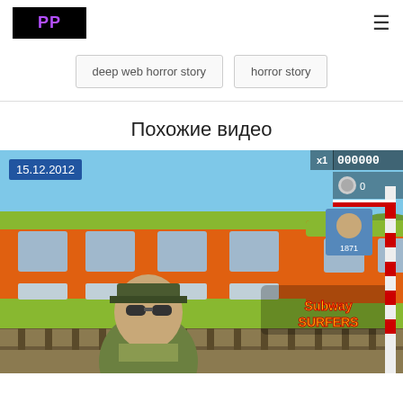PP
deep web horror story
horror story
Похожие видео
[Figure (screenshot): Video thumbnail showing a Subway Surfers game scene with an orange/red train, a cartoon police officer character, game logo text in Russian/stylized letters, score display showing 000000, and a date label 15.12.2012 in the top-left corner.]